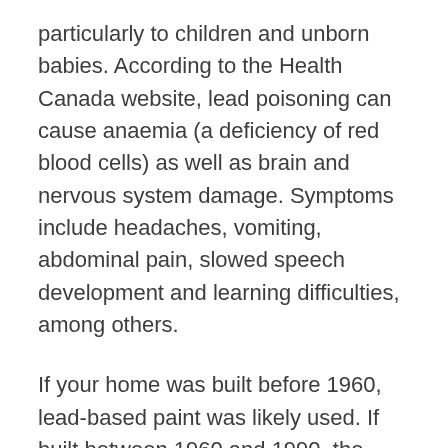particularly to children and unborn babies. According to the Health Canada website, lead poisoning can cause anaemia (a deficiency of red blood cells) as well as brain and nervous system damage. Symptoms include headaches, vomiting, abdominal pain, slowed speech development and learning difficulties, among others.
If your home was built before 1960, lead-based paint was likely used. If built between 1960 and 1990, the exterior of your home may contain lead-based paint but the paint on interior surfaces should either contain small amounts of lead or be lead-free. If you want to find out whether your home contains